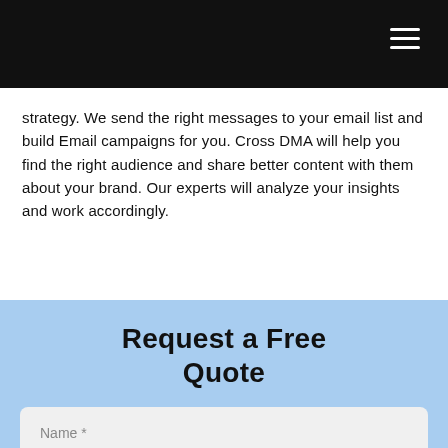Navigation bar with hamburger menu
strategy. We send the right messages to your email list and build Email campaigns for you. Cross DMA will help you find the right audience and share better content with them about your brand. Our experts will analyze your insights and work accordingly.
Request a Free Quote
Name *
E-mail *
Phone *